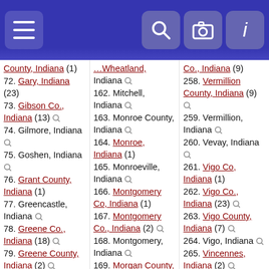Navigation header with menu, search, camera, and info icons
County, Indiana (1)
72. Gary, Indiana (23)
73. Gibson Co., Indiana (13)
74. Gilmore, Indiana
75. Goshen, Indiana
76. Grant County, Indiana (1)
77. Greencastle, Indiana
78. Greene Co., Indiana (18)
79. Greene County, Indiana (2)
80. Hailton Co., Indiana (1)
81. Hamilton Co., Indiana (15)
82. Hamilton County, Indiana
161. Wheatland, Indiana
162. Mitchell, Indiana
163. Monroe County, Indiana
164. Monroe, Indiana (1)
165. Monroeville, Indiana
166. Montgomery Co, Indiana (1)
167. Montgomery Co., Indiana (2)
168. Montgomery, Indiana
169. Morgan County, Indiana (1)
170. Muncie, Indiana
171. Nappanee, Indiana
172. New Albany, Indiana
173. New...
Co., Indiana (9)
258. Vermillion County, Indiana (9)
259. Vermillion, Indiana
260. Vevay, Indiana
261. Vigo Co, Indiana (1)
262. Vigo Co., Indiana (23)
263. Vigo County, Indiana (7)
264. Vigo, Indiana
265. Vincennes, Indiana (2)
266. Wanatah, Indiana
267. Warrick Co., Indiana (3)
268. Washington Co., Indiana (12)
269. Washington Co., Indiana